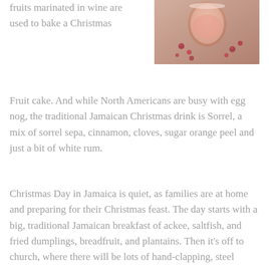[Figure (photo): A glass of pink/rose-colored drink with small red berries (sorrel) scattered around it on a wooden surface]
fruits marinated in wine are used to bake a Christmas Fruit cake. And while North Americans are busy with egg nog, the traditional Jamaican Christmas drink is Sorrel, a mix of sorrel sepa, cinnamon, cloves, sugar orange peel and just a bit of white rum.
Christmas Day in Jamaica is quiet, as families are at home and preparing for their Christmas feast. The day starts with a big, traditional Jamaican breakfast of ackee, saltfish, and fried dumplings, breadfruit, and plantains. Then it's off to church, where there will be lots of hand-clapping, steel drums and